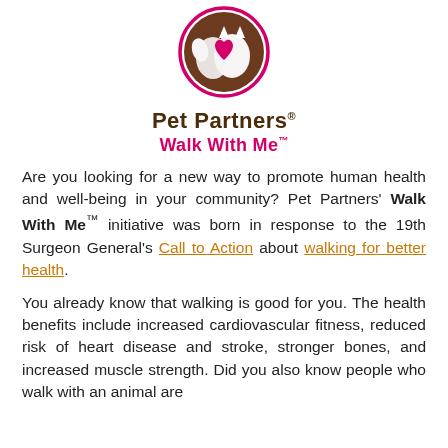[Figure (logo): Pet Partners Walk With Me logo: circular emblem with stylized dog and cat silhouettes in brown with a pink heart, surrounded by a pink circle. Below: 'Pet Partners' in dark brown bold text and 'Walk With Me' in pink bold text.]
Are you looking for a new way to promote human health and well-being in your community? Pet Partners' Walk With Me™ initiative was born in response to the 19th Surgeon General's Call to Action about walking for better health.
You already know that walking is good for you. The health benefits include increased cardiovascular fitness, reduced risk of heart disease and stroke, stronger bones, and increased muscle strength. Did you also know people who walk with an animal are